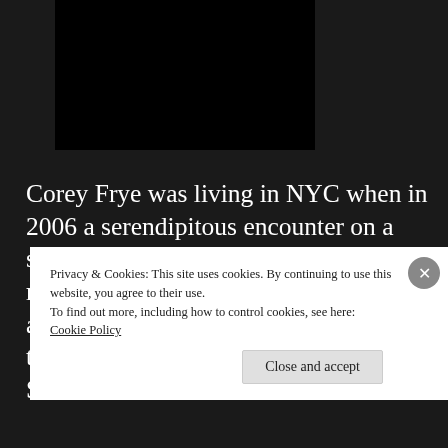[Figure (photo): Black rectangle image placeholder at top of page]
Corey Frye was living in NYC when in 2006 a serendipitous encounter on a subway platform introduced him to a random French tourist. She had a cute accent and he could play the guitar, so things worked out and after many long Skype chats and even longer transatlantic flights they married and moved
Privacy & Cookies: This site uses cookies. By continuing to use this website, you agree to their use.
To find out more, including how to control cookies, see here:
Cookie Policy
Close and accept